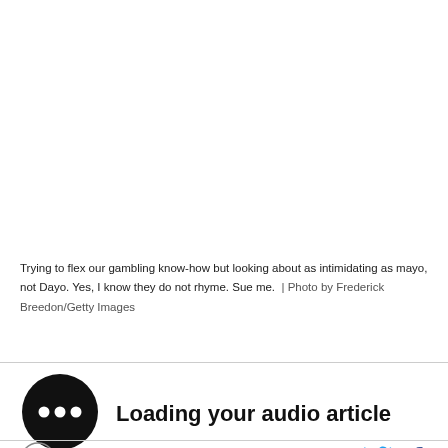Trying to flex our gambling know-how but looking about as intimidating as mayo, not Dayo. Yes, I know they do not rhyme. Sue me.  | Photo by Frederick Breedon/Getty Images
Loading your audio article
[Figure (logo): Anchor logo circle emblem bottom left]
[Figure (logo): Twitter bird icon and Facebook f icon social share buttons]